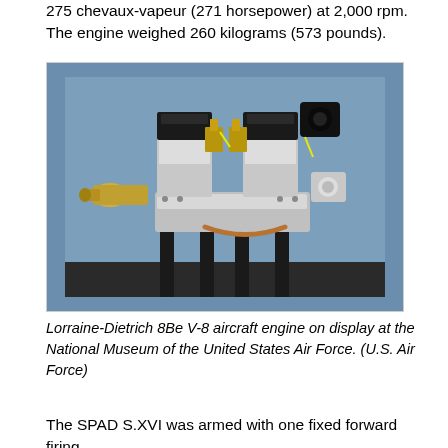275 chevaux-vapeur (271 horsepower) at 2,000 rpm. The engine weighed 260 kilograms (573 pounds).
[Figure (photo): Lorraine-Dietrich 8Be V-8 aircraft engine on display at the National Museum of the United States Air Force. The engine is mounted on a black metal stand, showing the V-8 cylinder configuration with black valve covers, gold/brass intake manifolds, and various mechanical components including a magneto on the right side and what appears to a gun synchronization mechanism on the left. The background is blue.]
Lorraine-Dietrich 8Be V-8 aircraft engine on display at the National Museum of the United States Air Force. (U.S. Air Force)
The SPAD S.XVI was armed with one fixed forward firing